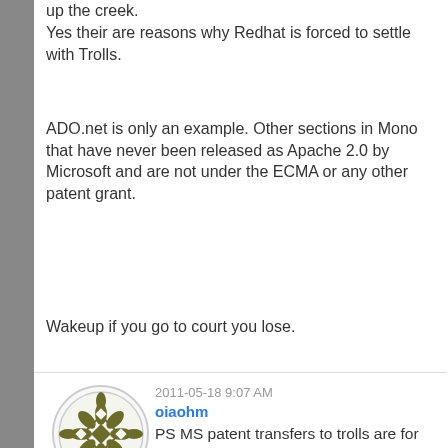up the creek.
Yes their are reasons why Redhat is forced to settle with Trolls.
ADO.net is only an example. Other sections in Mono that have never been released as Apache 2.0 by Microsoft and are not under the ECMA or any other patent grant.
Wakeup if you go to court you lose.
2011-05-18 9:07 AM
oiaohm
PS MS patent transfers to trolls are for the full life of the patent. Just leaves MS with a